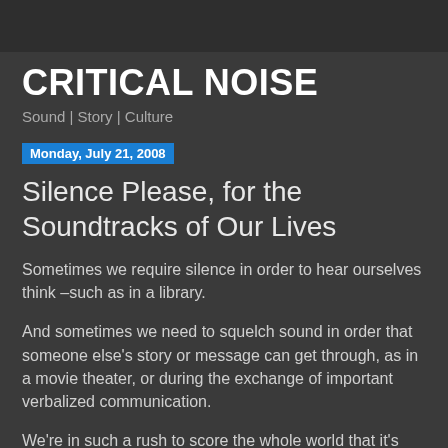CRITICAL NOISE
Sound | Story | Culture
Monday, July 21, 2008
Silence Please, for the Soundtracks of Our Lives
Sometimes we require silence in order to hear ourselves think –such as in a library.
And sometimes we need to squelch sound in order that someone else's story or message can get through, as in a movie theater, or during the exchange of important verbalized communication.
We're in such a rush to score the whole world that it's easy to forget that arranging opportunities for SIMPLE QUIET or shaping RELATIVE SILENCE may actually prove the most